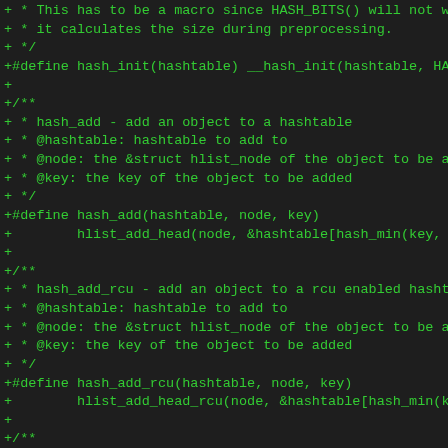Code diff showing hash table macro definitions in C, including hash_init, hash_add, hash_add_rcu, and hash_hashed functions with comments.